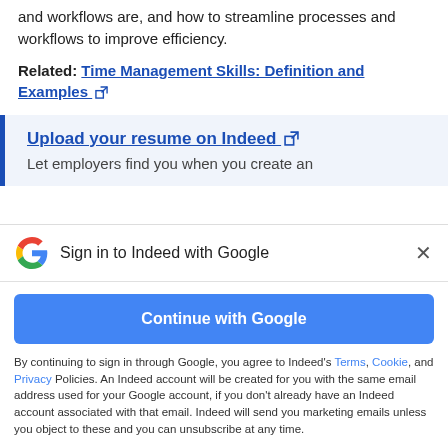and workflows are, and how to streamline processes and workflows to improve efficiency.
Related: Time Management Skills: Definition and Examples
Upload your resume on Indeed
Let employers find you when you create an
Sign in to Indeed with Google
Continue with Google
By continuing to sign in through Google, you agree to Indeed's Terms, Cookie, and Privacy Policies. An Indeed account will be created for you with the same email address used for your Google account, if you don't already have an Indeed account associated with that email. Indeed will send you marketing emails unless you object to these and you can unsubscribe at any time.